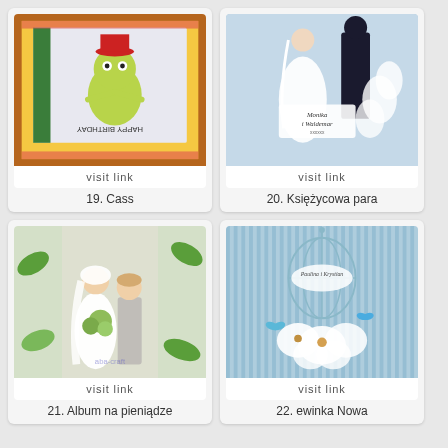[Figure (photo): Craft card with cartoon frog character in red hat, 'Happy Birthday' text, colorful patterned border in a brown frame]
visit link
19. Cass
[Figure (photo): Wedding card with silhouette of bride and groom, white lily flowers, text 'Monika i Waldemar']
visit link
20. Księżycowa para
[Figure (photo): Illustrated album with bride and groom cartoon characters kissing, green tropical leaves in background, watermark 'aba-craft']
visit link
21. Album na pieniądze
[Figure (photo): Wedding card with blue birdcage, white flowers, text 'Paulina i Krystian', blue striped background]
visit link
22. ewinka Nowa